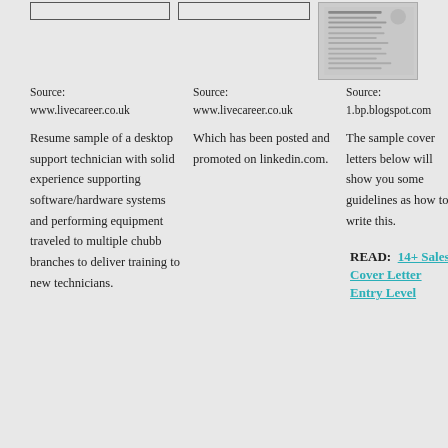[Figure (other): Thumbnail image of a resume document]
Source:
www.livecareer.co.uk
Source:
www.livecareer.co.uk
Source:
1.bp.blogspot.com
Resume sample of a desktop support technician with solid experience supporting software/hardware systems and performing equipment traveled to multiple chubb branches to deliver training to new technicians.
Which has been posted and promoted on linkedin.com.
The sample cover letters below will show you some guidelines as how to write this.
READ:  14+ Sales Cover Letter Entry Level